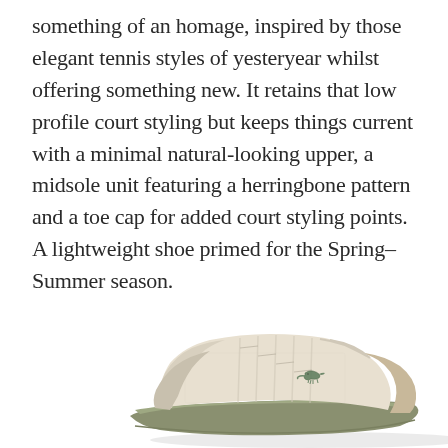something of an homage, inspired by those elegant tennis styles of yesteryear whilst offering something new. It retains that low profile court styling but keeps things current with a minimal natural-looking upper, a midsole unit featuring a herringbone pattern and a toe cap for added court styling points. A lightweight shoe primed for the Spring–Summer season.
[Figure (photo): A side-view photograph of a Lacoste low-profile sneaker/trainer in cream/off-white with a textured upper, tan heel counter, olive/sage green rubber midsole and outsole, and small Lacoste crocodile logo on the side.]